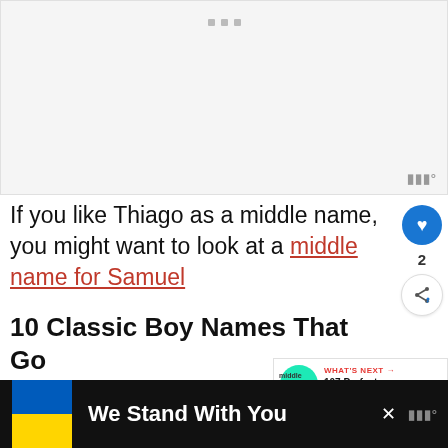[Figure (other): Advertisement placeholder with three small grey dots at top center and a watermark logo at bottom right]
If you like Thiago as a middle name, you might want to look at a middle name for Samuel
10 Classic Boy Names That Go Well With Thiago
[Figure (other): What's Next promotional widget showing '107 Perfect Middle Nam...' with circular teal badge]
[Figure (other): Bottom banner: Ukraine flag, 'We Stand With You' text on black background with close button and watermark]